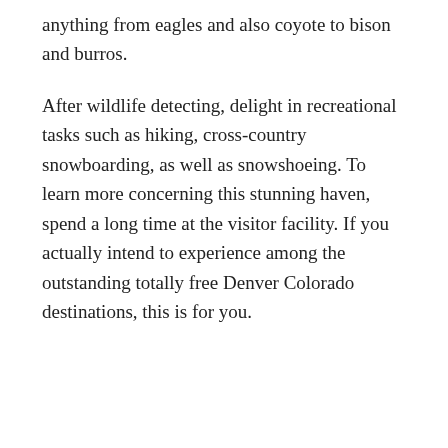anything from eagles and also coyote to bison and burros.
After wildlife detecting, delight in recreational tasks such as hiking, cross-country snowboarding, as well as snowshoeing. To learn more concerning this stunning haven, spend a long time at the visitor facility. If you actually intend to experience among the outstanding totally free Denver Colorado destinations, this is for you.